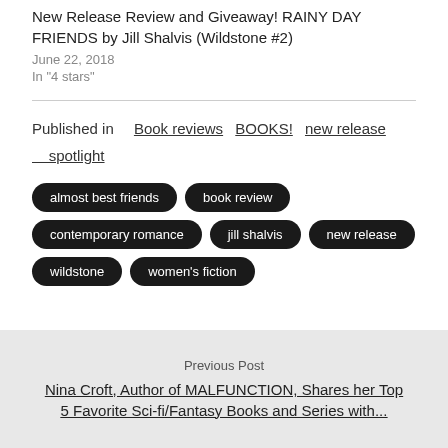New Release Review and Giveaway! RAINY DAY FRIENDS by Jill Shalvis (Wildstone #2)
June 22, 2018
In "4 stars"
Published in  Book reviews  BOOKS!  new release spotlight
almost best friends
book review
contemporary romance
jill shalvis
new release
wildstone
women's fiction
Previous Post
Nina Croft, Author of MALFUNCTION, Shares her Top 5 Favorite Sci-fi/Fantasy Books and Series with...